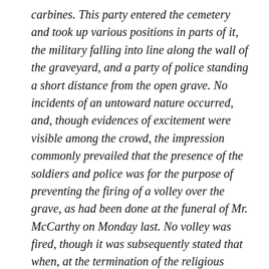carbines. This party entered the cemetery and took up various positions in parts of it, the military falling into line along the wall of the graveyard, and a party of police standing a short distance from the open grave. No incidents of an untoward nature occurred, and, though evidences of excitement were visible among the crowd, the impression commonly prevailed that the presence of the soldiers and police was for the purpose of preventing the firing of a volley over the grave, as had been done at the funeral of Mr. McCarthy on Monday last. No volley was fired, though it was subsequently stated that when, at the termination of the religious ceremony at the  graveside, the military and the police had returned to Templemore, a party of Volunteers fired a volley